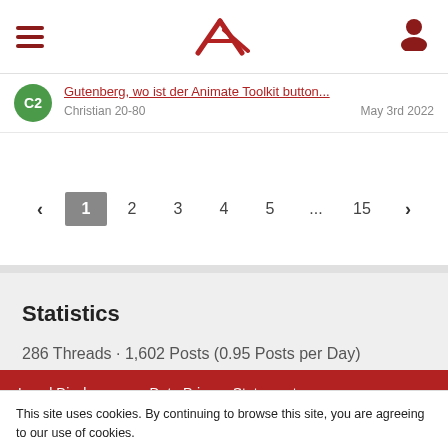Navigation bar with hamburger menu, logo, and user icon
Gutenberg, wo ist der Animate Toolkit button... Christian 20-80  May 3rd 2022
< 1 2 3 4 5 ... 15 >
Statistics
286 Threads · 1,602 Posts (0.95 Posts per Day)
Legal Disclosure    Data Privacy Statement
This site uses cookies. By continuing to browse this site, you are agreeing to our use of cookies.